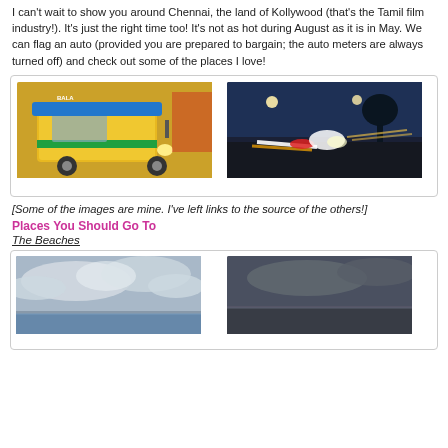I can't wait to show you around Chennai, the land of Kollywood (that's the Tamil film industry!). It's just the right time too! It's not as hot during August as it is in May. We can flag an auto (provided you are prepared to bargain; the auto meters are always turned off) and check out some of the places I love!
[Figure (photo): Two photos side by side: left shows a yellow auto-rickshaw (tuk-tuk) on a street; right shows a blurry night traffic scene with light trails.]
[Some of the images are mine. I've left links to the source of the others!]
Places You Should Go To
The Beaches
[Figure (photo): Two beach photos side by side: left shows a cloudy sky over a beach; right shows a darker twilight beach scene.]